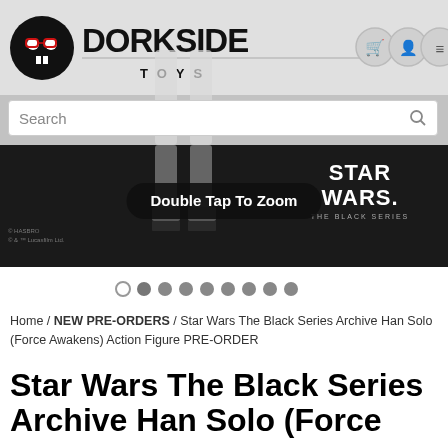[Figure (screenshot): Dorkside Toys website header with skull logo wearing red glasses, navigation icons for cart, account, and menu]
[Figure (photo): Star Wars The Black Series action figure product image showing figure legs on dark background with Star Wars The Black Series logo. Overlay pill button reads 'Double Tap To Zoom']
[Figure (other): Carousel navigation dots, 9 dots total with first dot empty/outlined and rest filled gray]
Home / NEW PRE-ORDERS / Star Wars The Black Series Archive Han Solo (Force Awakens) Action Figure PRE-ORDER
Star Wars The Black Series Archive Han Solo (Force